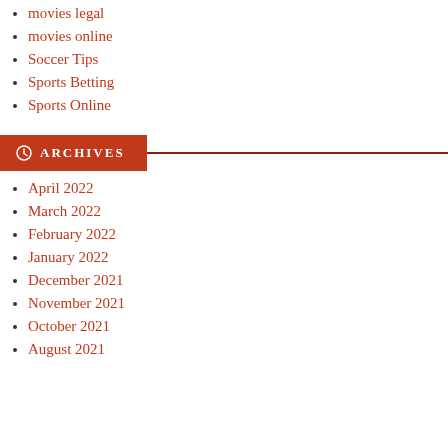movies legal
movies online
Soccer Tips
Sports Betting
Sports Online
ARCHIVES
April 2022
March 2022
February 2022
January 2022
December 2021
November 2021
October 2021
August 2021